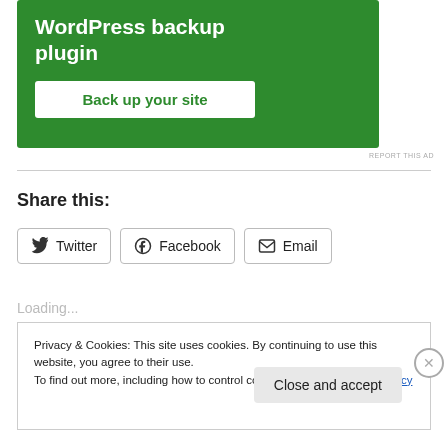[Figure (screenshot): Green advertisement banner for a WordPress backup plugin with white 'Back up your site' button]
REPORT THIS AD
Share this:
Twitter  Facebook  Email
Loading...
Privacy & Cookies: This site uses cookies. By continuing to use this website, you agree to their use.
To find out more, including how to control cookies, see here: Cookie Policy
Close and accept